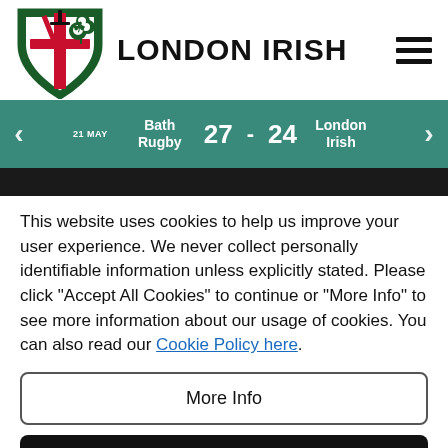LONDON IRISH
21 MAY  Bath Rugby  27 - 24  London Irish
This website uses cookies to help us improve your user experience. We never collect personally identifiable information unless explicitly stated. Please click "Accept All Cookies" to continue or "More Info" to see more information about our usage of cookies. You can also read our Cookie Policy here.
More Info
Accept All Cookies